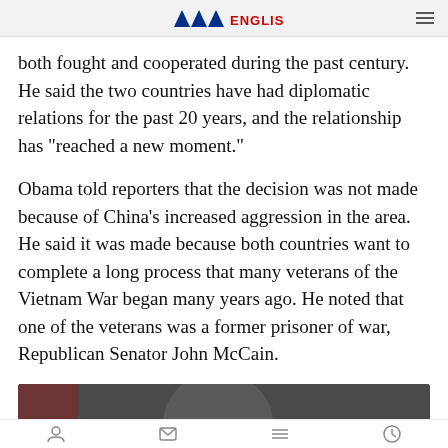VOA ENGLISH
both fought and cooperated during the past century. He said the two countries have had diplomatic relations for the past 20 years, and the relationship has “reached a new moment.”
Obama told reporters that the decision was not made because of China’s increased aggression in the area. He said it was made because both countries want to complete a long process that many veterans of the Vietnam War began many years ago. He noted that one of the veterans was a former prisoner of war, Republican Senator John McCain.
[Figure (screenshot): Video thumbnail showing Senator John McCain with overlay text: VOA Interview: Senator John McCain on US.. and a share icon]
Navigation icons at bottom